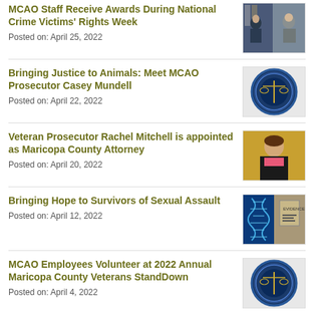MCAO Staff Receive Awards During National Crime Victims' Rights Week
Posted on: April 25, 2022
[Figure (photo): Two women standing in front of US and Arizona flags]
Bringing Justice to Animals: Meet MCAO Prosecutor Casey Mundell
Posted on: April 22, 2022
[Figure (logo): Maricopa County Attorney Office seal]
Veteran Prosecutor Rachel Mitchell is appointed as Maricopa County Attorney
Posted on: April 20, 2022
[Figure (photo): Photo of Rachel Mitchell]
Bringing Hope to Survivors of Sexual Assault
Posted on: April 12, 2022
[Figure (photo): DNA helix graphic and evidence bag]
MCAO Employees Volunteer at 2022 Annual Maricopa County Veterans StandDown
Posted on: April 4, 2022
[Figure (logo): Maricopa County Attorney Office seal]
Prosecuting Officer Involved...